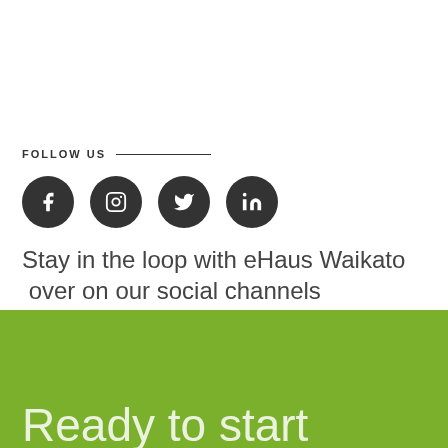FOLLOW US
[Figure (illustration): Four social media icons in dark circles: Facebook, Instagram, Twitter, LinkedIn]
Stay in the loop with eHaus Waikato over on our social channels
Ready to start